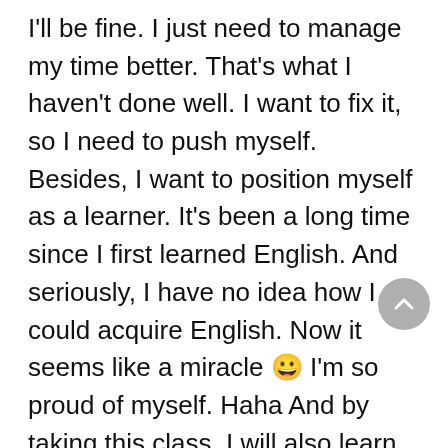I'll be fine. I just need to manage my time better. That's what I haven't done well. I want to fix it, so I need to push myself. Besides, I want to position myself as a learner. It's been a long time since I first learned English. And seriously, I have no idea how I could acquire English. Now it seems like a miracle 😀 I'm so proud of myself. Haha And by taking this class, I will also learn how the teachers teach. So I am observing this class too for my teacher professional development. *tsaaah 😂😂😂
By the way, today is the third day of the class, and you know what? I end up dropping the class that crashed the 1pm schedule. Dang. But that's okay, now every day I have to leave for campus for my 9am class. It's good though. It forces me to get...